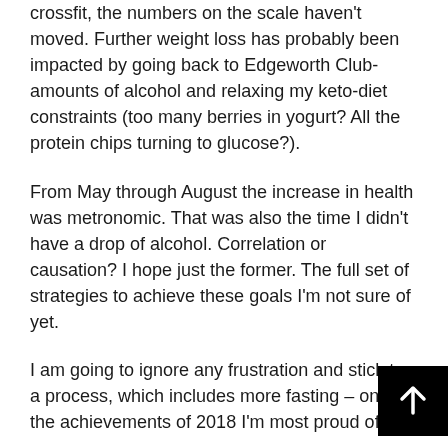crossfit, the numbers on the scale haven't moved. Further weight loss has probably been impacted by going back to Edgeworth Club-amounts of alcohol and relaxing my keto-diet constraints (too many berries in yogurt? All the protein chips turning to glucose?).
From May through August the increase in health was metronomic. That was also the time I didn't have a drop of alcohol. Correlation or causation? I hope just the former. The full set of strategies to achieve these goals I'm not sure of yet.
I am going to ignore any frustration and stick to a process, which includes more fasting – one of the achievements of 2018 I'm most proud of.
The sixth goal is a reach. I still have severe problems with flexibility in some of my leg muscles. I also think the way to reach this goal is not through a standard